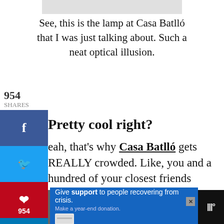[Figure (photo): Partial view of a lamp at Casa Batlló (top portion cropped)]
See, this is the lamp at Casa Batlló that I was just talking about. Such a neat optical illusion.
Pretty cool right?
Yeah, that's why Casa Batlló gets REALLY crowded. Like, you and a hundred of your closest friends packed in one room crowded.
Therefore...
This website uses cookies to improve your experience. We assume you're ok with this, but you can opt-out if you wish.
[Figure (photo): Advertisement banner at the bottom: family photo on the left, blue ad panel reading 'Give support to people recovering from crisis. Make a year-end donation.']